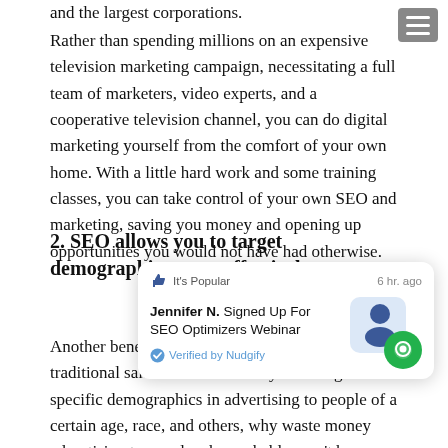and the largest corporations.
Rather than spending millions on an expensive television marketing campaign, necessitating a full team of marketers, video experts, and a cooperative television channel, you can do digital marketing yourself from the comfort of your own home. With a little hard work and some training classes, you can take control of your own SEO and marketing, saving you money and opening up opportunities you would not have had otherwise.
2. SEO allows you to target demographics more effectively
[Figure (screenshot): Nudgify notification card showing thumbs up 'It's Popular' label, timestamp '6 hr. ago', text 'Jennifer N. Signed Up For SEO Optimizers Webinar', 'Verified by Nudgify', and a blue avatar with green chat bubble icon.]
Another benefit of digital marketing over traditional advertising is that it allows you to target specific demographics—age, race, and others, why waste money advertising to people who probably won't be interested in your product? Practising